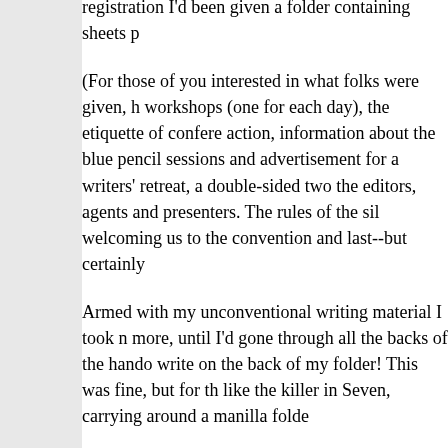registration I'd been given a folder containing sheets p
(For those of you interested in what folks were given, h workshops (one for each day), the etiquette of confere action, information about the blue pencil sessions and advertisement for a writers' retreat, a double-sided two the editors, agents and presenters. The rules of the sil welcoming us to the convention and last--but certainly
Armed with my unconventional writing material I took n more, until I'd gone through all the backs of the hando write on the back of my folder! This was fine, but for th like the killer in Seven, carrying around a manilla folde
Okay, the class. Here's what Robert Wiersema said wa You take a bunch of characters, make your readers ca on them and then don't flinch. You need to let horrible
(Important disclaimer: These are my notes so I could h Wiersema said, so don't blame him if you read someth makes no sense, that's me. :)